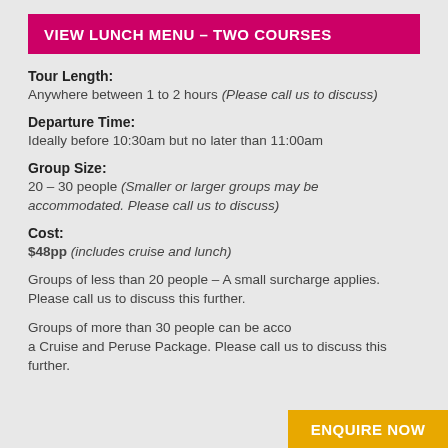VIEW LUNCH MENU – TWO COURSES
Tour Length:
Anywhere between 1 to 2 hours (Please call us to discuss)
Departure Time:
Ideally before 10:30am but no later than 11:00am
Group Size:
20 – 30 people (Smaller or larger groups may be accommodated. Please call us to discuss)
Cost:
$48pp (includes cruise and lunch)
Groups of less than 20 people – A small surcharge applies. Please call us to discuss this further.
Groups of more than 30 people can be accommodated via a Cruise and Peruse Package. Please call us to discuss this further.